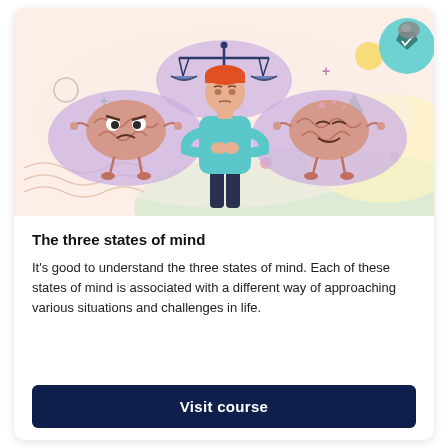[Figure (illustration): Colorful illustration showing a person with crossed arms standing between two cartoon brain characters — one angry (left) and one calm/happy (right) — both on purple cloud-like backgrounds. Above the person is a balance scale on a purple cloud. Background has pink, green, yellow pastel shapes and squiggly lines. Top-right corner has a teal circle with a shield/badge icon.]
The three states of mind
It's good to understand the three states of mind. Each of these states of mind is associated with a different way of approaching various situations and challenges in life.
Visit course